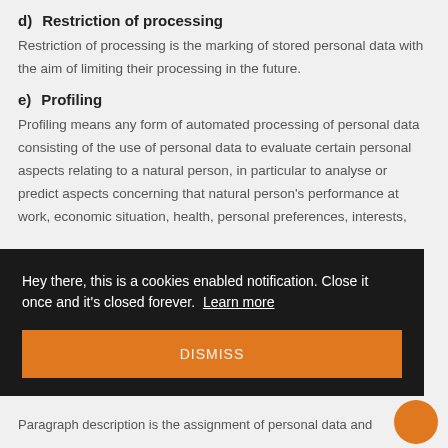d)  Restriction of processing
Restriction of processing is the marking of stored personal data with the aim of limiting their processing in the future.
e)  Profiling
Profiling means any form of automated processing of personal data consisting of the use of personal data to evaluate certain personal aspects relating to a natural person, in particular to analyse or predict aspects concerning that natural person's performance at work, economic situation, health, personal preferences, interests,
[Figure (screenshot): Cookie consent notification overlay with dark background. Text reads: 'Hey there, this is a cookies enabled notification. Close it once and it’s closed forever. Learn more'. Below is an orange DISMISS button. A circular orange chat bubble icon is visible in the bottom right corner.]
Paragraph description is the assignment of personal data and